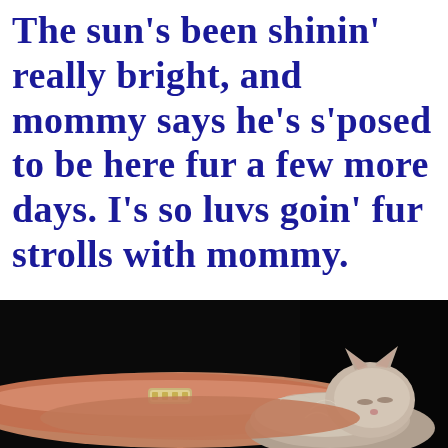The sun's been shinin' really bright, and mommy says he's s'posed to be here fur a few more days. I's so luvs goin' fur strolls with mommy.
[Figure (photo): Photo of a person's arm/wrist with a bracelet resting on or near a sleeping cat (appears to be a fluffy grey/white cat), against a dark/black background.]